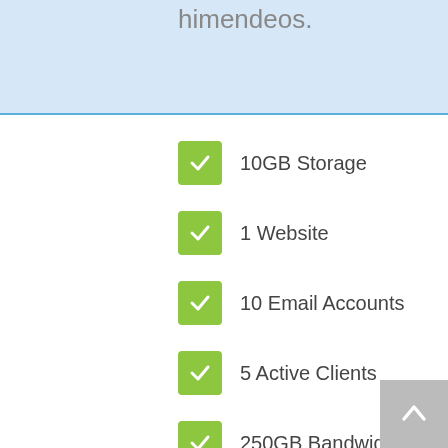himendeos.
10GB Storage
1 Website
10 Email Accounts
5 Active Clients
250GB Bandwidth
24/7 Support
2 Projects/ mo
Free Domain